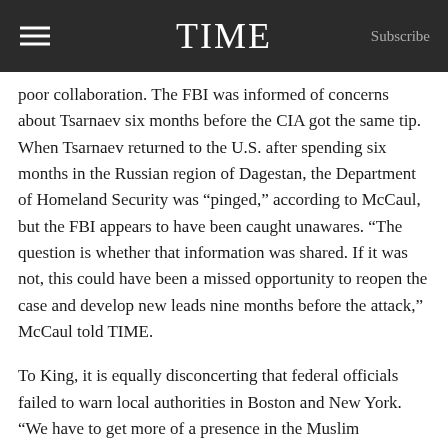TIME  Subscribe
poor collaboration. The FBI was informed of concerns about Tsarnaev six months before the CIA got the same tip. When Tsarnaev returned to the U.S. after spending six months in the Russian region of Dagestan, the Department of Homeland Security was “pinged,” according to McCaul, but the FBI appears to have been caught unawares. “The question is whether that information was shared. If it was not, this could have been a missed opportunity to reopen the case and develop new leads nine months before the attack,” McCaul told TIME.
To King, it is equally disconcerting that federal officials failed to warn local authorities in Boston and New York. “We have to get more of a presence in the Muslim community, and reach out and try to gather local intelligence,” King says. Terrorist groups like al-Qaeda have adjusted their approach in the years since the Sept. 11 attacks, he adds. As a result, federal officials are less likely to snuff